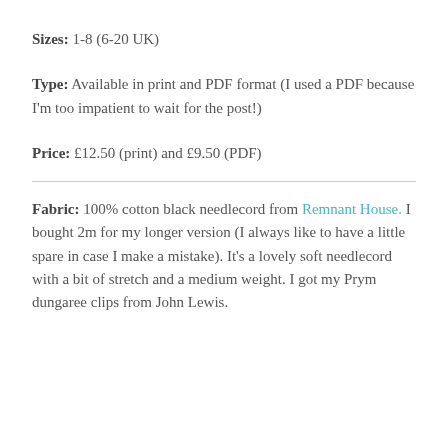Sizes: 1-8 (6-20 UK)
Type: Available in print and PDF format (I used a PDF because I'm too impatient to wait for the post!)
Price: £12.50 (print) and £9.50 (PDF)
Fabric: 100% cotton black needlecord from Remnant House. I bought 2m for my longer version (I always like to have a little spare in case I make a mistake). It's a lovely soft needlecord with a bit of stretch and a medium weight. I got my Prym dungaree clips from John Lewis.